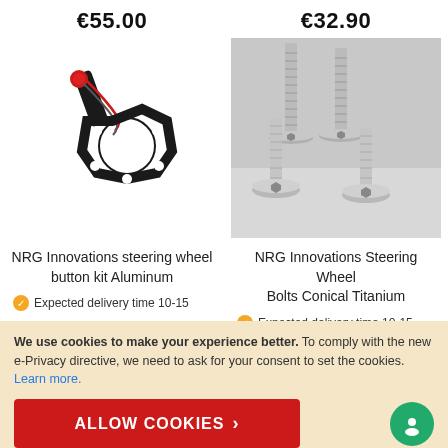€55.00
€32.90
[Figure (photo): NRG Innovations steering wheel button kit aluminum - black metal bracket with red button and wiring]
[Figure (photo): NRG Innovations Steering Wheel Bolts Conical Titanium - four conical titanium bolts arranged together]
NRG Innovations steering wheel button kit Aluminum
NRG Innovations Steering Wheel Bolts Conical Titanium
Expected delivery time 10-15
Expected delivery time 10-15
We use cookies to make your experience better. To comply with the new e-Privacy directive, we need to ask for your consent to set the cookies. Learn more.
ALLOW COOKIES >